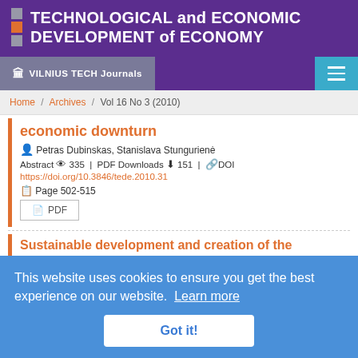TECHNOLOGICAL and ECONOMIC DEVELOPMENT of ECONOMY
VILNIUS TECH Journals
Home / Archives / Vol 16 No 3 (2010)
economic downturn
Petras Dubinskas, Stanislava Stungurienė
Abstract 335 | PDF Downloads 151 | DOI https://doi.org/10.3846/tede.2010.31
Page 502-515
Sustainable development and creation of the knowledge economy. The new theoretical approach
This website uses cookies to ensure you get the best experience on our website. Learn more